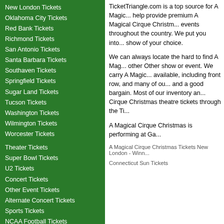New London Tickets
Oklahoma City Tickets
Red Bank Tickets
Richmond Tickets
San Antonio Tickets
Santa Barbara Tickets
Southaven Tickets
Springfield Tickets
Sugar Land Tickets
Tucson Tickets
Washington Tickets
Wilmington Tickets
Worcester Tickets
Theater Tickets
Super Bowl Tickets
U2 Tickets
Concert Tickets
Other Event Tickets
Alternate Concert Tickets
Sports Tickets
NCAA Football Tickets
College Sports Tickets
NCAA Basketball Tickets
NHL Tickets
NFL Tickets
NBA Tickets
MLB Tickets
TicketTriangle.com is a top source for A Magic... help provide premium A Magical Cirque Christm... events throughout the country. We put you into... show of your choice.
We can always locate the hard to find A Mag... other Other show or event. We carry A Magic... available, including front row, and many of ou... and a good bargain. Most of our inventory an... Cirque Christmas theatre tickets through the Ti...
A Magical Cirque Christmas is performing at Ga...
A Magical Cirque Christmas Tickets New London - Winn...
Connecticut Sun Tickets